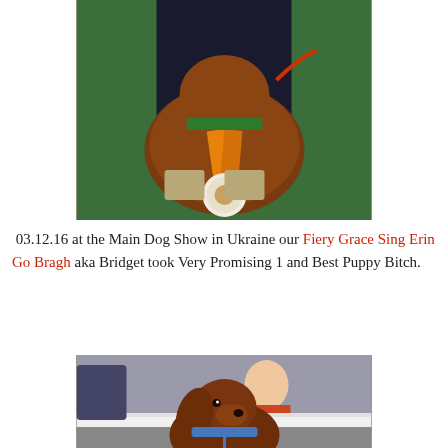[Figure (photo): A red/golden Irish Setter dog wearing an orange ribbon award/rosette at a dog show, being held by a person in dark clothing. Green background visible.]
03.12.16 at the Main Dog Show in Ukraine our Fiery Grace Sing Erin Go Bragh aka Bridget took Very Promising 1 and Best Puppy Bitch.
[Figure (photo): A red Irish Setter puppy looking upward at a dog show, sitting behind a white barrier. A red banner with the number '21' is visible at the bottom. People seated in background.]